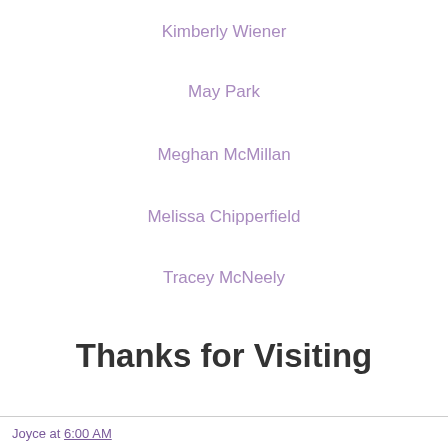Kimberly Wiener
May Park
Meghan McMillan
Melissa Chipperfield
Tracey McNeely
Thanks for Visiting
Joyce at 6:00 AM